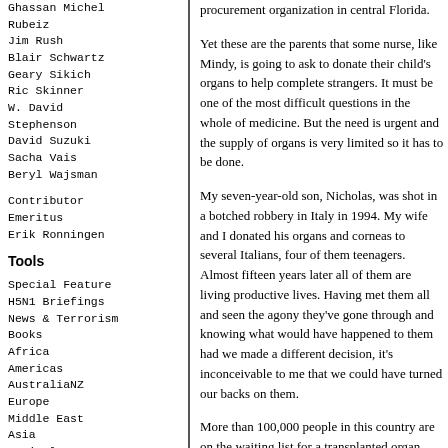Ghassan Michel Rubeiz
Jim Rush
Blair Schwartz
Geary Sikich
Ric Skinner
W. David Stephenson
David Suzuki
Sacha Vais
Beryl Wajsman
Contributor Emeritus
Erik Ronningen
Tools
Special Feature
H5N1 Briefings
News & Terrorism
Books
Africa
Americas
AustraliaNZ
Europe
Middle East
Asia
Agriculture
Alliances
Careers
Disaster Mgmt
Education
Environment
Faith
Finance
Hazard Research
Health
Logistics
Stop Violence
procurement organization in central Florida.
Yet these are the parents that some nurse, like Mindy, is going to ask to donate their child's organs to help complete strangers. It must be one of the most difficult questions in the whole of medicine. But the need is urgent and the supply of organs is very limited so it has to be done.
My seven-year-old son, Nicholas, was shot in a botched robbery in Italy in 1994. My wife and I donated his organs and corneas to seven Italians, four of them teenagers. Almost fifteen years later all of them are living productive lives. Having met them all and seen the agony they've gone through and knowing what would have happened to them had we made a different decision, it's inconceivable to me that we could have turned our backs on them.
More than 100,000 people in this country are on the waiting list for a transplanted organ. Twenty years ago it was 20,000. It is not because donation rates have gone down – there has been an upward trend in gifts – but as the techniques improve and more and more patients become eligible to receive a transplanted organ so the list grows month by month.
In a real sense, then, transplantation is the victim of its own success. That, however, is no consolation for those 100,000 people, 18 of whom die every day because of the shortage.
Nor is there any magic wand to dramatically increase the supply. In the great majority of deaths, where the heart stops beating, the organs deteriorate too quickly to be of use to anyone else. Most don